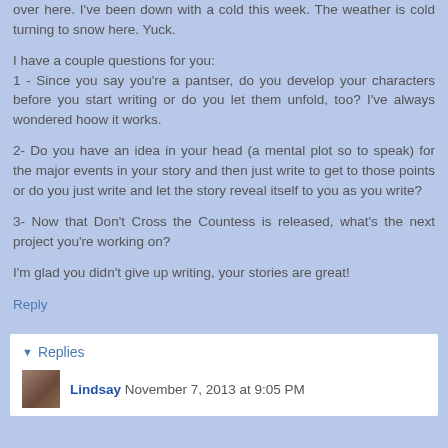over here. I've been down with a cold this week. The weather is cold turning to snow here. Yuck.
I have a couple questions for you:
1 - Since you say you're a pantser, do you develop your characters before you start writing or do you let them unfold, too? I've always wondered hoow it works.
2- Do you have an idea in your head (a mental plot so to speak) for the major events in your story and then just write to get to those points or do you just write and let the story reveal itself to you as you write?
3- Now that Don't Cross the Countess is released, what's the next project you're working on?
I'm glad you didn't give up writing, your stories are great!
Reply
Replies
Lindsay November 7, 2013 at 9:05 PM